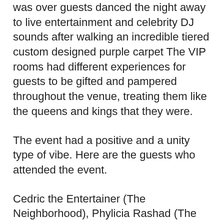was over guests danced the night away to live entertainment and celebrity DJ sounds after walking an incredible tiered custom designed purple carpet The VIP rooms had different experiences for guests to be gifted and pampered throughout the venue, treating them like the queens and kings that they were.
The event had a positive and a unity type of vibe. Here are the guests who attended the event.
Cedric the Entertainer (The Neighborhood), Phylicia Rashad (The Cosby Show), Cheech Marin (Cheech & Chong), Reneé Lawless (Have & Have Nots), Arthur Sarkissian (Producer Rush Hour), Kim Lee (Bling Empire/Wynn